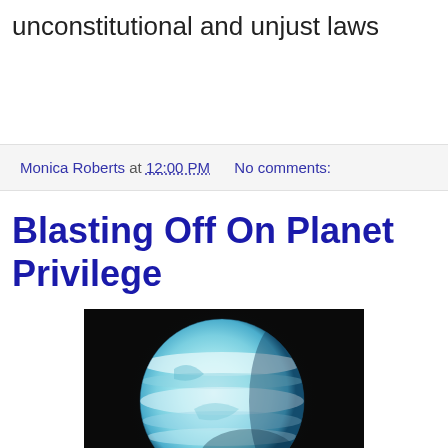unconstitutional and unjust laws
Monica Roberts at 12:00 PM   No comments:
Blasting Off On Planet Privilege
[Figure (photo): A light blue and white planet against a black background, resembling Uranus or Neptune, with visible banded cloud patterns.]